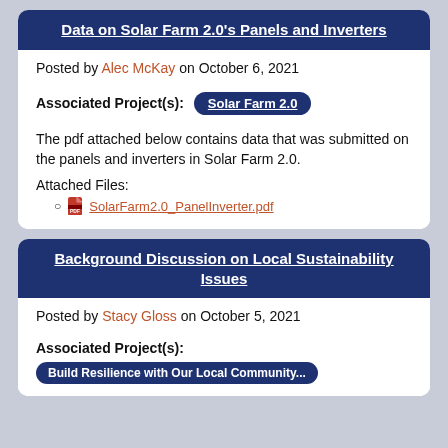Data on Solar Farm 2.0's Panels and Inverters
Posted by Alec McKay on October 6, 2021
Associated Project(s): Solar Farm 2.0
The pdf attached below contains data that was submitted on the panels and inverters in Solar Farm 2.0.
Attached Files:
SolarFarm2.0_PanelInverter.pdf
Background Discussion on Local Sustainability Issues
Posted by Stacy Gloss on October 5, 2021
Associated Project(s):
Build Resilience with Our Local Community...